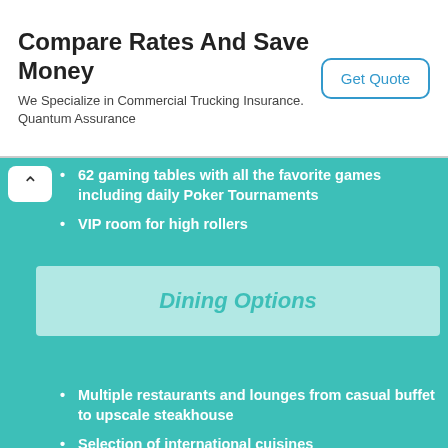Compare Rates And Save Money
We Specialize in Commercial Trucking Insurance.
Quantum Assurance
Get Quote
62 gaming tables with all the favorite games including daily Poker Tournaments
VIP room for high rollers
Dining Options
Multiple restaurants and lounges from casual buffet to upscale steakhouse
Selection of international cuisines
24/7 room service
Additional Amenities